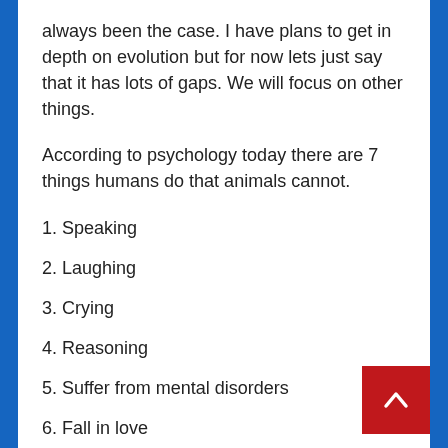always been the case. I have plans to get in depth on evolution but for now lets just say that it has lots of gaps. We will focus on other things.
According to psychology today there are 7 things humans do that animals cannot.
1. Speaking
2. Laughing
3. Crying
4. Reasoning
5. Suffer from mental disorders
6. Fall in love
7. Believing in God